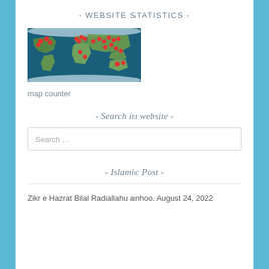- WEBSITE STATISTICS -
[Figure (map): World map with red location pins showing visitor locations across continents]
map counter
- Search in website -
Search ...
- Islamic Post -
Zikr e Hazrat Bilal Radiallahu anhoo. August 24, 2022